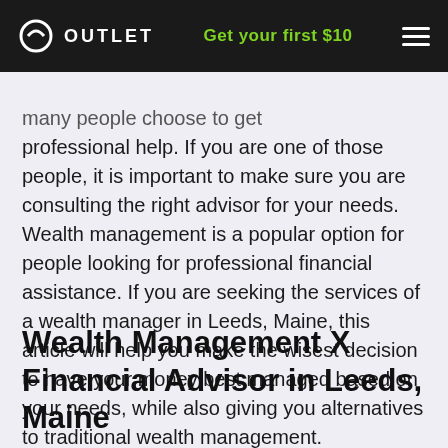OUTLET | Get your first $10
many people choose to get professional help. If you are one of those people, it is important to make sure you are consulting the right advisor for your needs. Wealth management is a popular option for people looking for professional financial assistance. If you are seeking the services of a wealth manager in Leeds, Maine, this article will help you make the wisest decision to have your money best managed based on your needs, while also giving you alternatives to traditional wealth management.
Wealth Management X Financial Advisor in Leeds, Maine